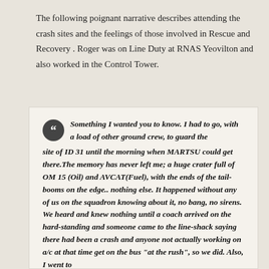The following poignant narrative describes attending the crash sites and the feelings of those involved in Rescue and Recovery . Roger was on Line Duty at RNAS Yeovilton and also worked in the Control Tower.
Something I wanted you to know. I had to go, with a load of other ground crew, to guard the site of ID 31 until the morning when MARTSU could get there.The memory has never left me; a huge crater full of OM 15 (Oil) and AVCAT(Fuel), with the ends of the tail-booms on the edge.. nothing else. It happened without any of us on the squadron knowing about it, no bang, no sirens. We heard and knew nothing until a coach arrived on the hard-standing and someone came to the line-shack saying there had been a crash and anyone not actually working on a/c at that time get on the bus "at the rush", so we did. Also, I went to